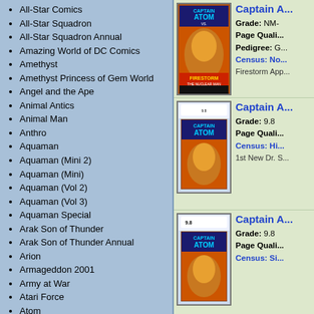All-Star Comics
All-Star Squadron
All-Star Squadron Annual
Amazing World of DC Comics
Amethyst
Amethyst Princess of Gem World
Angel and the Ape
Animal Antics
Animal Man
Anthro
Aquaman
Aquaman (Mini 2)
Aquaman (Mini)
Aquaman (Vol 2)
Aquaman (Vol 3)
Aquaman Special
Arak Son of Thunder
Arak Son of Thunder Annual
Arion
Armageddon 2001
Army at War
Atari Force
Atom
Atom and Hawkman
Bat Lash
Batgirl Special
Batman
Batman Adventures
Batman and the Outsiders
Batman and the Outsiders Annual
[Figure (illustration): Captain Atom comic book cover showing Captain Atom vs Firestorm The Nuclear Man]
Captain A...
Grade: NM-
Page Quali...
Pedigree: G...
Census: No...
Firestorm App...
[Figure (illustration): Captain Atom comic book cover in CGC graded slab]
Captain A...
Grade: 9.8
Page Quali...
Census: Hi...
1st New Dr. S...
[Figure (illustration): Captain Atom comic book cover with 9.8 grade label]
Captain A...
Grade: 9.8
Page Quali...
Census: Si...